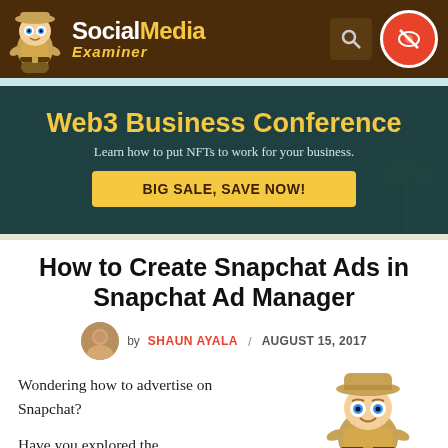Social Media Examiner
[Figure (infographic): Web3 Business Conference banner ad with yellow title text, subtitle about NFTs, and yellow CTA button 'BIG SALE, SAVE NOW!']
How to Create Snapchat Ads in Snapchat Ad Manager
by SHAUN AYALA / AUGUST 15, 2017
Wondering how to advertise on Snapchat?
Have you explored the